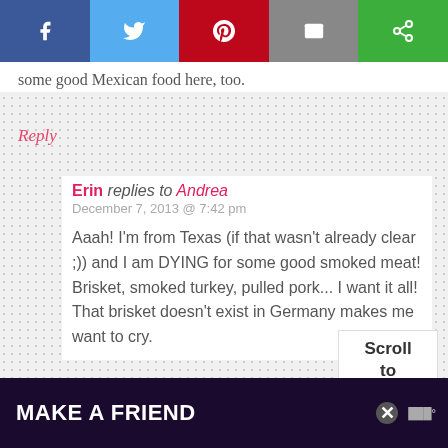[Figure (screenshot): Social media share bar with Facebook (blue), Twitter (light blue), Pinterest (red), Email (grey), and Share (green) buttons]
some good Mexican food here, too.
Reply
Erin replies to Andrea
December 7, 2013 @ 7:42 pm

Aaah! I'm from Texas (if that wasn't already clear ;)) and I am DYING for some good smoked meat! Brisket, smoked turkey, pulled pork... I want it all! That brisket doesn't exist in Germany makes me want to cry.
Scroll to top
[Figure (screenshot): Advertisement banner: MAKE A FRIEND with dog image on dark purple background]